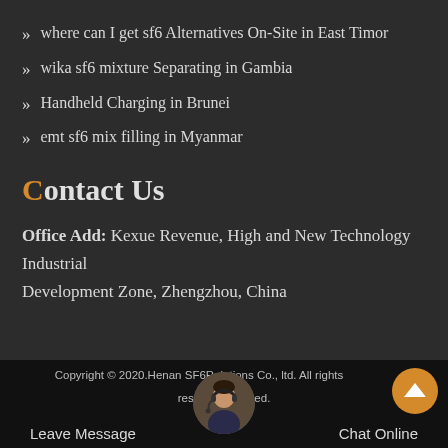where can I get sf6 Alternatives On-Site in East Timor
wika sf6 mixture Separating in Gambia
Handheld Charging in Brunei
emt sf6 mix filling in Myanmar
Contact Us
Office Add: Kexue Revenue, High and New Technology Industrial Development Zone, Zhengzhou, China
Copyright © 2020.Henan SF6Relations Co., ltd. All rights reserved. Leave Message  Chat Online